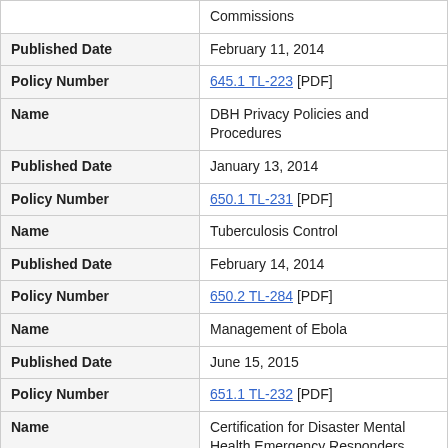| Field | Value |
| --- | --- |
|  | Commissions |
| Published Date | February 11, 2014 |
| Policy Number | 645.1 TL-223 [PDF] |
| Name | DBH Privacy Policies and Procedures |
| Published Date | January 13, 2014 |
| Policy Number | 650.1 TL-231 [PDF] |
| Name | Tuberculosis Control |
| Published Date | February 14, 2014 |
| Policy Number | 650.2 TL-284 [PDF] |
| Name | Management of Ebola |
| Published Date | June 15, 2015 |
| Policy Number | 651.1 TL-232 [PDF] |
| Name | Certification for Disaster Mental Health Emergency Responders |
| Published Date | February 14, 2014 |
| Policy Number | 651.2 TL-238 [PDF] |
| Name | Emergency and Disaster Plan for Continuity of Operations |